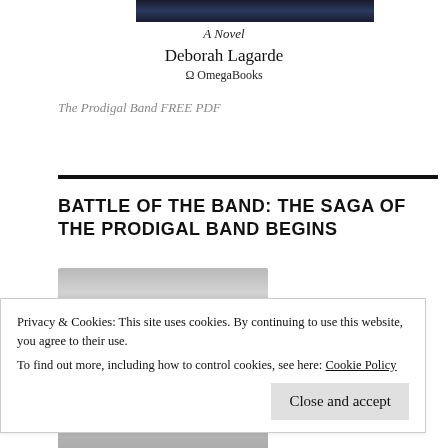[Figure (illustration): Dark blue/night sky book cover top portion]
A Novel
Deborah Lagarde
Ω OmegaBooks
The Prodigal Band FREE PDF
BATTLE OF THE BAND: THE SAGA OF THE PRODIGAL BAND BEGINS
[Figure (illustration): Book cover image partially visible - grey top and bottom with red blood drip design]
Privacy & Cookies: This site uses cookies. By continuing to use this website, you agree to their use.
To find out more, including how to control cookies, see here: Cookie Policy
Close and accept